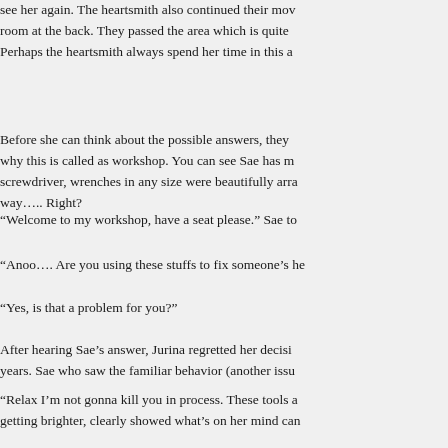see her again. The heartsmith also continued their mov room at the back. They passed the area which is quite Perhaps the heartsmith always spend her time in this a
Before she can think about the possible answers, they why this is called as workshop. You can see Sae has m screwdriver, wrenches in any size were beautifully arra way….. Right?
“Welcome to my workshop, have a seat please.” Sae to
“Anoo…. Are you using these stuffs to fix someone’s he
“Yes, is that a problem for you?”
After hearing Sae’s answer, Jurina regretted her decisi years. Sae who saw the familiar behavior (another issu
“Relax I’m not gonna kill you in process. These tools a getting brighter, clearly showed what’s on her mind can
“So…Hmmmm….  Breakup, huh?” Sae blurted out as h
“How…..?” The customer’s eyes were widened. Instea
“It’s been 2 years, right?” Another smirk from Sae’s lips
“HOW DID YOU KNOW??” The customer’s eyes gettin